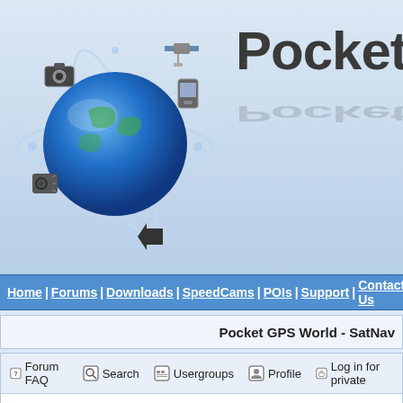[Figure (logo): PocketGPSWorld website header with blue globe logo and satellite/camera/phone icons orbiting it, with 'PocketGPSW' text logo to the right]
Home | Forums | Downloads | SpeedCams | POIs | Support | Contact Us
Pocket GPS World - SatNav
Forum FAQ  Search  Usergroups  Profile  Log in for private
Format of Weekly Newsletter (on iPhones !)
Pocket GPS World Forum Index -> CamerA
| Author |  |
| --- | --- |